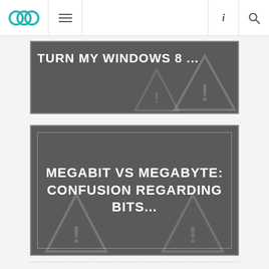OOC navigation bar with logo, menu, info, search icons
[Figure (screenshot): Partial article card with dark gray background and warning triangle watermarks, title text: TURN MY WINDOWS 8 ...]
[Figure (screenshot): Article card with dark gray background and warning triangle watermarks, title: MEGABIT VS MEGABYTE: CONFUSION REGARDING BITS...]
PREVIOUS ARTICLE
HOW TO MANAGE SHUT DOWN/LO
NEXT ARTICLE
LET'S CHANGE THE METRO